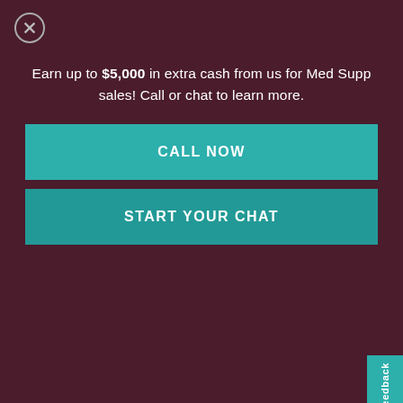Earn up to $5,000 in extra cash from us for Med Supp sales! Call or chat to learn more.
CALL NOW
START YOUR CHAT
6 Reasons Why an Insurance Agent Career Is Perfect for You
[Figure (screenshot): Chat widget bubble with '...' icon and text 'Leave us a message' on teal background]
Selling Annuities Online: How Do...